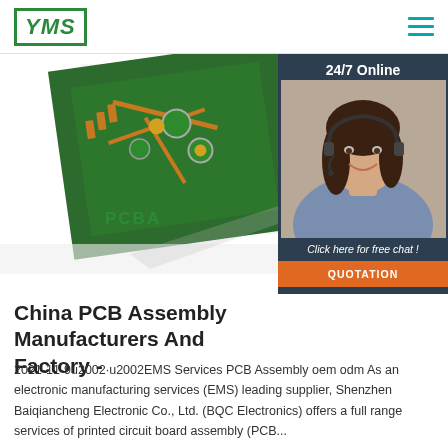YMS
[Figure (photo): PCB circuit board image (green, triangular/diamond shape) shown partially with component traces, pads and connectors visible. Label 'PCBA' shown in green bold text below the board.]
[Figure (photo): Right panel with dark navy background showing '24/7 Online' text, a customer service agent photo (woman with headset smiling), 'Click here for free chat!' text in italic white, and an orange 'QUOTATION' button.]
China PCB Assembly Manufacturers And Factory -
2021-11-9u2002·u2002EMS Services PCB Assembly oem odm As an electronic manufacturing services (EMS) leading supplier, Shenzhen Baiqiancheng Electronic Co., Ltd. (BQC Electronics) offers a full range services of printed circuit board assembly (PCB...